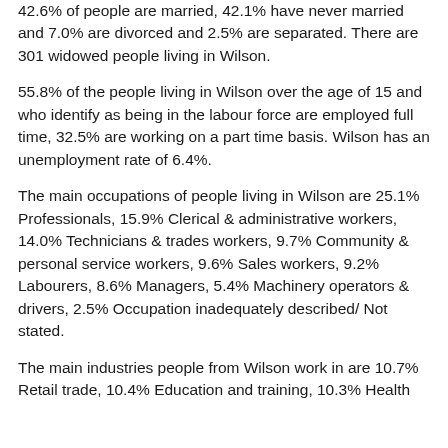42.6% of people are married, 42.1% have never married and 7.0% are divorced and 2.5% are separated. There are 301 widowed people living in Wilson.
55.8% of the people living in Wilson over the age of 15 and who identify as being in the labour force are employed full time, 32.5% are working on a part time basis. Wilson has an unemployment rate of 6.4%.
The main occupations of people living in Wilson are 25.1% Professionals, 15.9% Clerical & administrative workers, 14.0% Technicians & trades workers, 9.7% Community & personal service workers, 9.6% Sales workers, 9.2% Labourers, 8.6% Managers, 5.4% Machinery operators & drivers, 2.5% Occupation inadequately described/ Not stated.
The main industries people from Wilson work in are 10.7% Retail trade, 10.4% Education and training, 10.3% Health